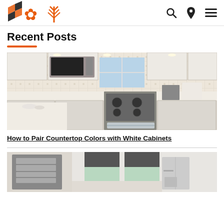Logo and navigation icons (search, location, menu)
Recent Posts
[Figure (photo): Kitchen interior with white shaker cabinets, marble/quartz countertops, stainless steel range with hanging towels, microwave above, mosaic tile backsplash, and recessed lighting]
How to Pair Countertop Colors with White Cabinets
[Figure (photo): Modern kitchen/living space with white walls, dark roller shades, pendant lights, open entryway with glass-panel door, and refrigerator visible]